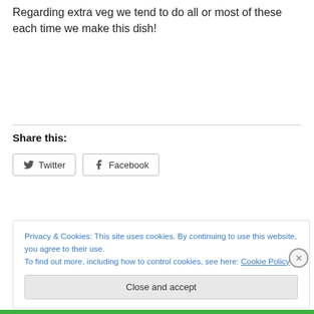Regarding extra veg we tend to do all or most of these each time we make this dish!
Share this:
Twitter  Facebook
Privacy & Cookies: This site uses cookies. By continuing to use this website, you agree to their use.
To find out more, including how to control cookies, see here: Cookie Policy
Close and accept